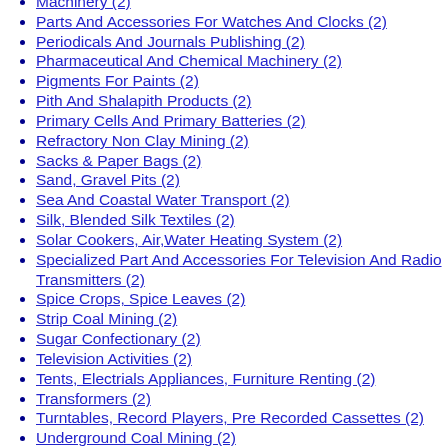Machinery (2)
Parts And Accessories For Watches And Clocks (2)
Periodicals And Journals Publishing (2)
Pharmaceutical And Chemical Machinery (2)
Pigments For Paints (2)
Pith And Shalapith Products (2)
Primary Cells And Primary Batteries (2)
Refractory Non Clay Mining (2)
Sacks & Paper Bags (2)
Sand, Gravel Pits (2)
Sea And Coastal Water Transport (2)
Silk, Blended Silk Textiles (2)
Solar Cookers, Air,Water Heating System (2)
Specialized Part And Accessories For Television And Radio Transmitters (2)
Spice Crops, Spice Leaves (2)
Strip Coal Mining (2)
Sugar Confectionary (2)
Television Activities (2)
Tents, Electrials Appliances, Furniture Renting (2)
Transformers (2)
Turntables, Record Players, Pre Recorded Cassettes (2)
Underground Coal Mining (2)
Union Governement Public Order (2)
Urea And Other Organic Fertilizers (2)
Vacuum Cleaners, Domestic Appliances (2)